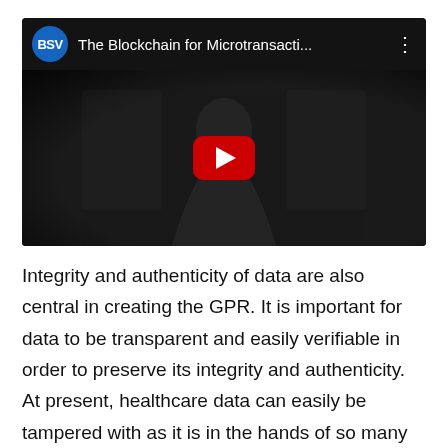[Figure (screenshot): YouTube video embed showing a man in a dark suit presenting, with BSV logo and title 'The Blockchain for Microtransacti...' and a red play button overlay.]
Integrity and authenticity of data are also central in creating the GPR. It is important for data to be transparent and easily verifiable in order to preserve its integrity and authenticity. At present, healthcare data can easily be tampered with as it is in the hands of so many centralized institutions. This issue is resolved because the BSV blockchain being decentralized and distributed means there is no single entity or administrator in control of the data and a master copy of the